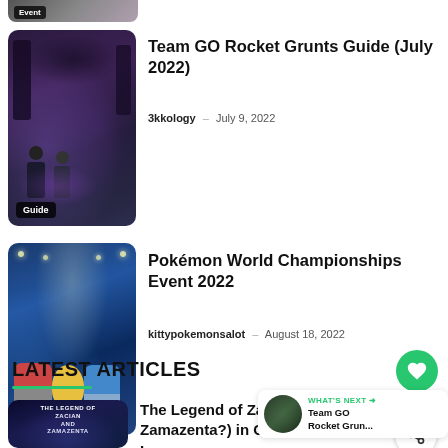[Figure (photo): Partial article card at top with 'Event' badge label, cropped image visible]
[Figure (photo): Team GO Rocket Grunt figures in dark forest setting with 'Guide' badge]
Team GO Rocket Grunts Guide (July 2022)
3kkology – July 9, 2022
[Figure (photo): Pokémon World Championships stadium scene with Pokémon characters and 'Article' badge]
Pokémon World Championships Event 2022
kittypokemonsalot – August 18, 2022
LATEST ARTICLES
[Figure (photo): The Legend of Zacian and Zamazenta dark themed promotional image]
The Legend of Zacian (& Zamazenta?) in GBL Master League